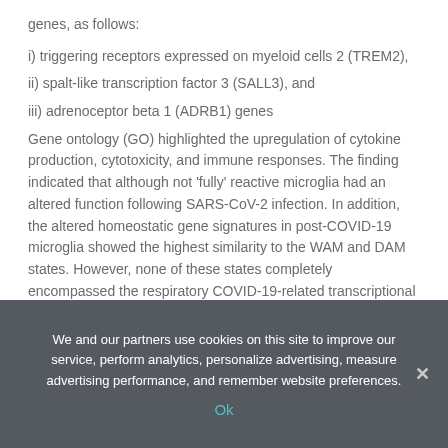genes, as follows:
i) triggering receptors expressed on myeloid cells 2 (TREM2),
ii) spalt-like transcription factor 3 (SALL3), and
iii) adrenoceptor beta 1 (ADRB1) genes
Gene ontology (GO) highlighted the upregulation of cytokine production, cytotoxicity, and immune responses. The finding indicated that although not 'fully' reactive microglia had an altered function following SARS-CoV-2 infection. In addition, the altered homeostatic gene signatures in post-COVID-19 microglia showed the highest similarity to the WAM and DAM states. However, none of these states completely encompassed the respiratory COVID-19-related transcriptional changes, indicating a distinct microglial reactivity state following mild respiratory COVID-19.
We and our partners use cookies on this site to improve our service, perform analytics, personalize advertising, measure advertising performance, and remember website preferences.